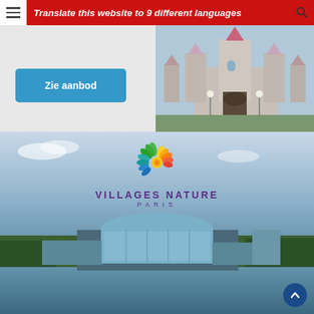Translate this website to 9 different languages
[Figure (screenshot): Blue 'Zie aanbod' button on white/gray background]
[Figure (photo): Photo of a castle entrance (Disneyland Paris style) with towers and archway]
[Figure (photo): Villages Nature Paris aerial photo of resort complex with glass dome buildings beside a lake, with logo overlay showing spiral motif and text VILLAGES NATURE PARIS]